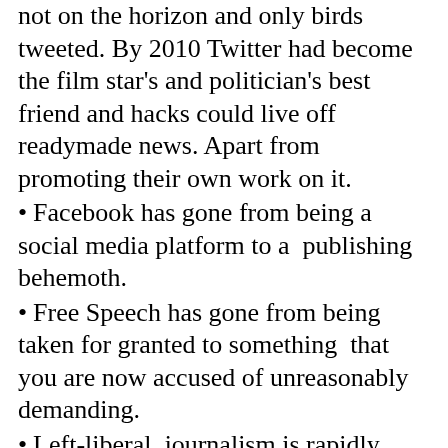not on the horizon and only birds tweeted. By 2010 Twitter had become the film star's and politician's best friend and hacks could live off readymade news. Apart from promoting their own work on it.
Facebook has gone from being a social media platform to a  publishing behemoth.
Free Speech has gone from being taken for granted to something  that you are now accused of unreasonably demanding.
Left-liberal  journalism is rapidly ceding ground and respectability to right wing journalism.
PR evolved.  By 2002 PR companies were already helping people get into the news, or stay out of the news, and blocking direct access to corporate honchos.
By 2010 the Radia tapes told us how the good lady was teaching her flock to differentiate between what journalists needed and what proprietors needed and to